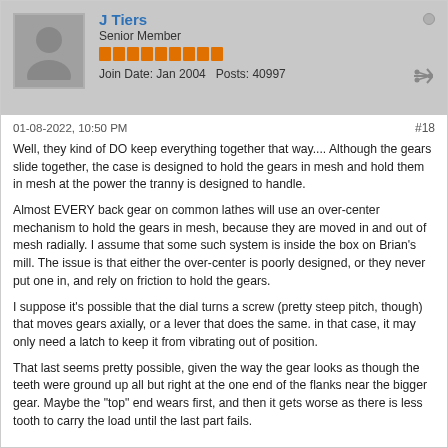J Tiers
Senior Member
Join Date: Jan 2004   Posts: 40997
01-08-2022, 10:50 PM
#18
Well, they kind of DO keep everything together that way.... Although the gears slide together, the case is designed to hold the gears in mesh and hold them in mesh at the power the tranny is designed to handle.
Almost EVERY back gear on common lathes will use an over-center mechanism to hold the gears in mesh, because they are moved in and out of mesh radially. I assume that some such system is inside the box on Brian's mill. The issue is that either the over-center is poorly designed, or they never put one in, and rely on friction to hold the gears.
I suppose it's possible that the dial turns a screw (pretty steep pitch, though) that moves gears axially, or a lever that does the same. in that case, it may only need a latch to keep it from vibrating out of position.
That last seems pretty possible, given the way the gear looks as though the teeth were ground up all but right at the one end of the flanks near the bigger gear. Maybe the "top" end wears first, and then it gets worse as there is less tooth to carry the load until the last part fails.